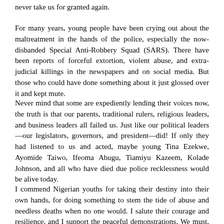never take us for granted again.
For many years, young people have been crying out about the maltreatment in the hands of the police, especially the now-disbanded Special Anti-Robbery Squad (SARS). There have been reports of forceful extortion, violent abuse, and extra-judicial killings in the newspapers and on social media. But those who could have done something about it just glossed over it and kept mute.
Never mind that some are expediently lending their voices now, the truth is that our parents, traditional rulers, religious leaders, and business leaders all failed us. Just like our political leaders—our legislators, governors, and president—did! If only they had listened to us and acted, maybe young Tina Ezekwe, Ayomide Taiwo, Ifeoma Abugu, Tiamiyu Kazeem, Kolade Johnson, and all who have died due police recklessness would be alive today.
I commend Nigerian youths for taking their destiny into their own hands, for doing something to stem the tide of abuse and needless deaths when no one would. I salute their courage and resilience, and I support the peaceful demonstrations. We must, however, stay focused on the primary objective of the campaign, which is to end police brutality and